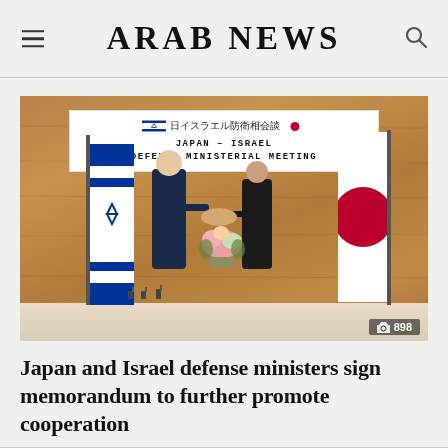ARAB NEWS
[Figure (photo): Two men in suits shaking hands at the Japan-Israel Defense Ministerial Meeting. A banner in the background reads 'JAPAN - ISRAEL DEFENSE MINISTERIAL MEETING' with Japanese text and both national flags. Israeli flag visible on the left, Japanese flag on the right. A flower arrangement is between the two men. Photo counter shows 898.]
Japan and Israel defense ministers sign memorandum to further promote cooperation